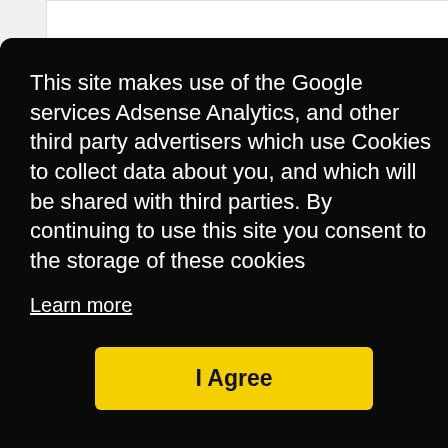This site makes use of the Google services Adsense Analytics, and other third party advertisers which use Cookies to collect data about you, and which will be shared with third parties. By continuing to use this site you consent to the storage of these cookies
Learn more
I Agree
Defense Grid 2 Trainer
© 2022 Cheatbook Magazine